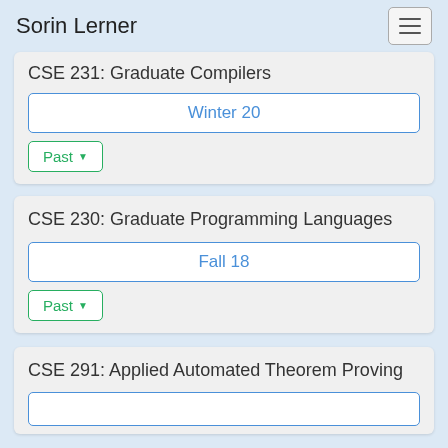Sorin Lerner
CSE 231: Graduate Compilers
Winter 20
Past
CSE 230: Graduate Programming Languages
Fall 18
Past
CSE 291: Applied Automated Theorem Proving